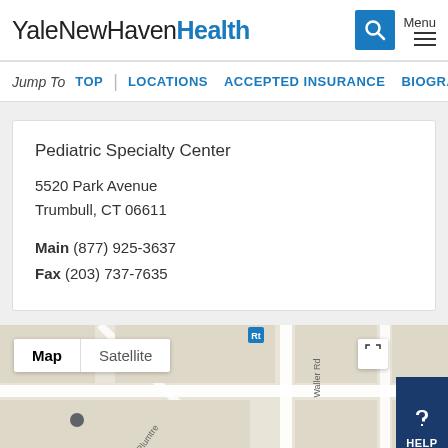YaleNewHavenHealth
Jump To   TOP   |   LOCATIONS   ACCEPTED INSURANCE   BIOGRAPHY
Pediatric Specialty Center
5520 Park Avenue
Trumbull, CT 06611
Main (877) 925-3637
Fax (203) 737-7635
[Figure (map): Google Maps view showing the area around 5520 Park Avenue, Trumbull CT with Map/Satellite toggle buttons and street labels including Waller Rd, Cell Rd, Plumtre, Aristidis Services]